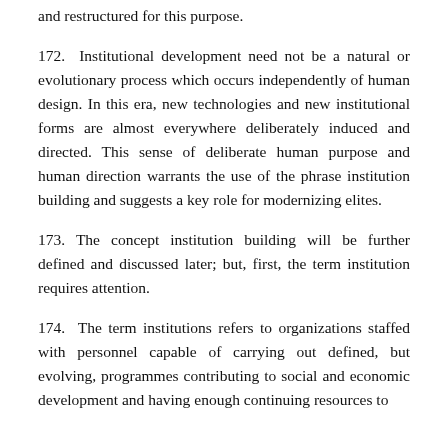and restructured for this purpose.
172.  Institutional development need not be a natural or evolutionary process which occurs independently of human design. In this era, new technologies and new institutional forms are almost everywhere deliberately induced and directed. This sense of deliberate human purpose and human direction warrants the use of the phrase institution building and suggests a key role for modernizing elites.
173. The concept institution building will be further defined and discussed later; but, first, the term institution requires attention.
174.  The term institutions refers to organizations staffed with personnel capable of carrying out defined, but evolving, programmes contributing to social and economic development and having enough continuing resources to